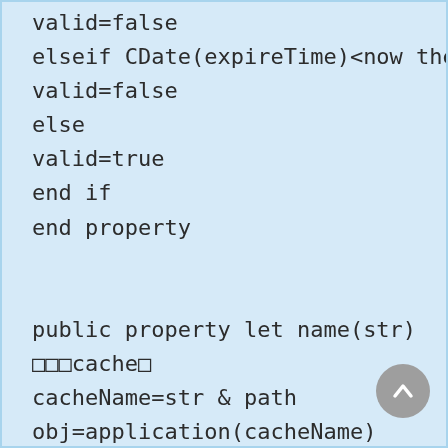valid=false
elseif CDate(expireTime)<now then
valid=false
else
valid=true
end if
end property

public property let name(str)
□□□cache□
cacheName=str & path
obj=application(cacheName)
expireTimeName=str & "expires" & path
expireTime=application(expireTimeName